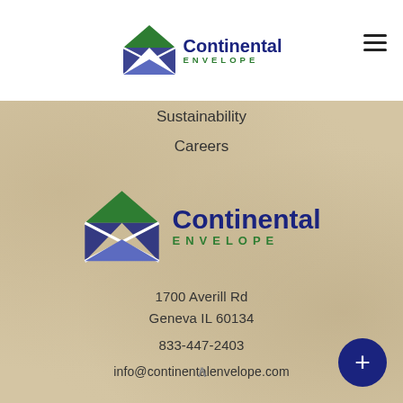[Figure (logo): Continental Envelope logo in header: envelope icon with blue diamond shapes and green roof, with 'Continental' in bold dark blue and 'ENVELOPE' in green spaced capitals]
Sustainability
Careers
[Figure (logo): Continental Envelope large logo: envelope icon with blue diamond shapes and green triangular roof, with 'Continental' in bold dark blue and 'ENVELOPE' in green spaced capitals]
1700 Averill Rd
Geneva IL 60134
833-447-2403
info@continentalenvelope.com